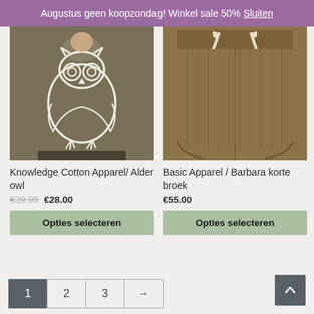Augustus geen koopzondag! Winkel sale 50% Sluiten
[Figure (photo): Person wearing a dark olive/brown t-shirt with a large white owl graphic print on the front, paired with dark shorts.]
Knowledge Cotton Apparel/ Alder owl
€39.95 €28.00
Opties selecteren
[Figure (photo): Dark olive/brown ribbed shorts with cream/white drawstring tie at the waist.]
Basic Apparel / Barbara korte broek
€55.00
Opties selecteren
1  2  3  →